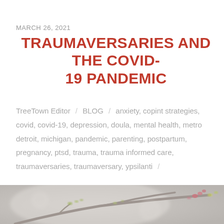MARCH 26, 2021
TRAUMAVERSARIES AND THE COVID-19 PANDEMIC
TreeTown Editor / BLOG / anxiety, copint strategies, covid, covid-19, depression, doula, mental health, metro detroit, michigan, pandemic, parenting, postpartum, pregnancy, ptsd, trauma, trauma informed care, traumaversaries, traumaversary, ypsilanti /
[Figure (photo): Close-up blurred photo of a tree branch with small green buds and small pink flower buds beginning to bloom, on a soft grey-beige background.]